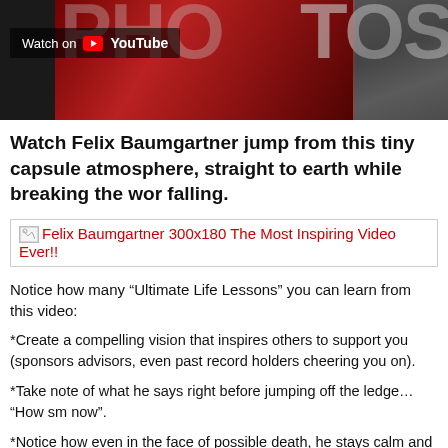[Figure (screenshot): YouTube video thumbnail banner showing 'Watch on YouTube' button with red and dark background, partial text overlay]
Watch Felix Baumgartner jump from this tiny capsule atmosphere, straight to earth while breaking the wor falling.
[Figure (screenshot): Broken image placeholder link: Felix Baumgartner 300x180 The Most Inspiring Video Ever!!]
Notice how many “Ultimate Life Lessons” you can learn from this video:
*Create a compelling vision that inspires others to support you (sponsors advisors, even past record holders cheering you on).
*Take note of what he says right before jumping off the ledge… “How sm now”.
*Notice how even in the face of possible death, he stays calm and regain out of control.  (He broke the speed of sound on this fall too).
*Listen to how humble he is when talking about his success.